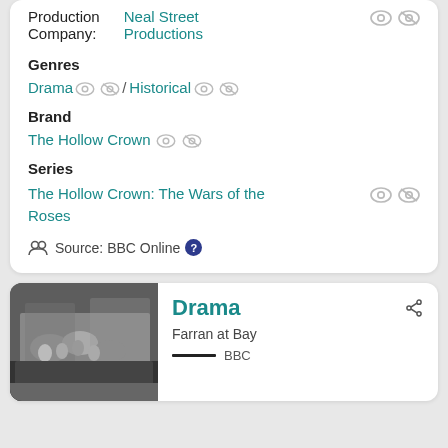Production Company: Neal Street Productions
Genres
Drama / Historical
Brand
The Hollow Crown
Series
The Hollow Crown: The Wars of the Roses
Source: BBC Online
Drama
Farran at Bay